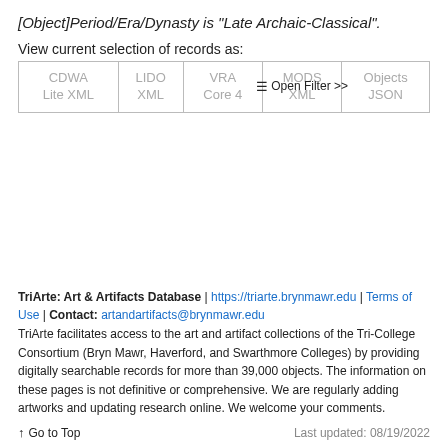[Object]Period/Era/Dynasty is "Late Archaic-Classical".
View current selection of records as:
| CDWA Lite XML | LIDO XML | VRA Core 4 | MODS XML | Objects JSON |
TriArte: Art & Artifacts Database | https://triarte.brynmawr.edu | Terms of Use | Contact: artandartifacts@brynmawr.edu
TriArte facilitates access to the art and artifact collections of the Tri-College Consortium (Bryn Mawr, Haverford, and Swarthmore Colleges) by providing digitally searchable records for more than 39,000 objects. The information on these pages is not definitive or comprehensive. We are regularly adding artworks and updating research online. We welcome your comments.
Go to Top
Last updated: 08/19/2022